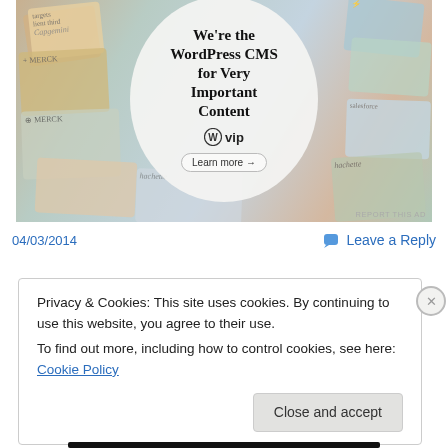[Figure (screenshot): WordPress VIP advertisement banner showing 'We're the WordPress CMS for Very Important Content' with WP VIP logo and 'Learn more' button, surrounded by decorative website thumbnails]
REPORT THIS AD
04/03/2014
Leave a Reply
Privacy & Cookies: This site uses cookies. By continuing to use this website, you agree to their use.
To find out more, including how to control cookies, see here: Cookie Policy
Close and accept